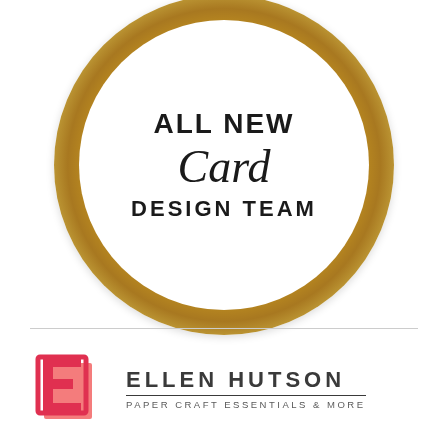[Figure (logo): Circular gold glitter badge with white center. Top text partially visible 'ALL NEW', then italic script 'Card', then bold uppercase 'DESIGN TEAM']
[Figure (logo): Ellen Hutson logo: stylized pink/red E monogram on left, text 'ELLEN HUTSON' in bold with 'PAPER CRAFT ESSENTIALS & MORE' below a dividing line]